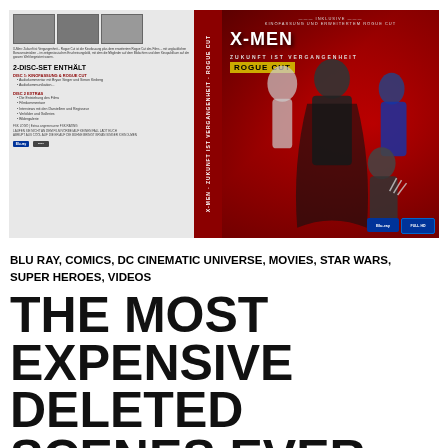[Figure (photo): X-Men: Zukunft ist Vergangenheit Rogue Cut 2-Disc Blu-ray cover showing front, spine and back of the German edition. Front features red background with X-MEN title, characters including Magneto, Storm, and Wolverine. Back shows disc contents listing in German.]
BLU RAY, COMICS, DC CINEMATIC UNIVERSE, MOVIES, STAR WARS, SUPER HEROES, VIDEOS
THE MOST EXPENSIVE DELETED SCENES EVER FILMED